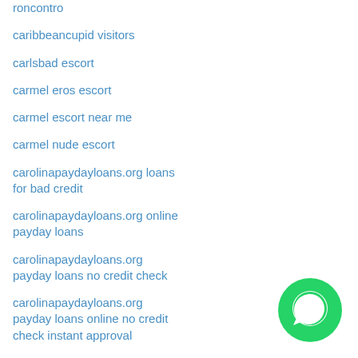roncontro
caribbeancupid visitors
carlsbad escort
carmel eros escort
carmel escort near me
carmel nude escort
carolinapaydayloans.org loans for bad credit
carolinapaydayloans.org online payday loans
carolinapaydayloans.org payday loans no credit check
carolinapaydayloans.org payday loans online no credit check instant approval
carolinapaydayloans.org payday loans online same day
carolinapaydayloans.org
[Figure (logo): WhatsApp green circular button icon]